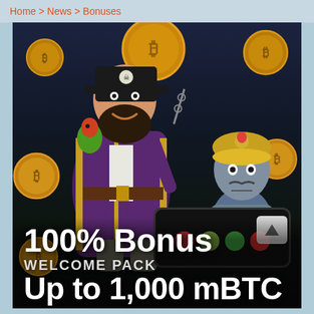Home > News > Bonuses
[Figure (illustration): Casino promotional banner showing a pirate character with a parrot on his shoulder and a genie character, surrounded by Bitcoin coins. Text overlay reads '100% Bonus WELCOME PACK Up to 1,000 mBTC']
100% Bonus
WELCOME PACK
Up to 1,000 mBTC